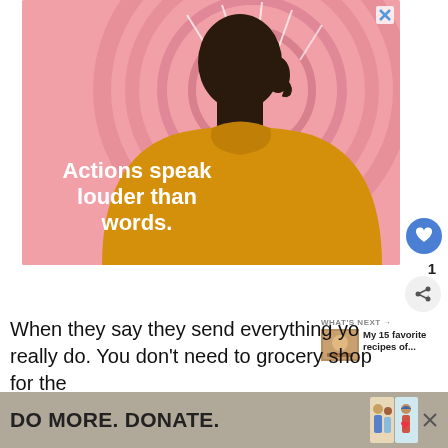[Figure (illustration): Advertisement illustration showing a Black man in a yellow turtleneck viewed from behind/side profile against a pink swirling background. White text overlay reads 'Actions speak louder than words.' A blue X close button appears in the top-right corner of the ad.]
1
When they say they send everything yo really do. You don't need to grocery shop for the nights you cook with HelloFresh: they think of every de you need
[Figure (photo): Small thumbnail image for 'What's Next' widget showing food/recipes]
WHAT'S NEXT → My 15 favorite recipes of...
[Figure (illustration): Bottom banner advertisement with text 'DO MORE. DONATE.' with illustrated figures of two people and a heart symbol, and a close X button.]